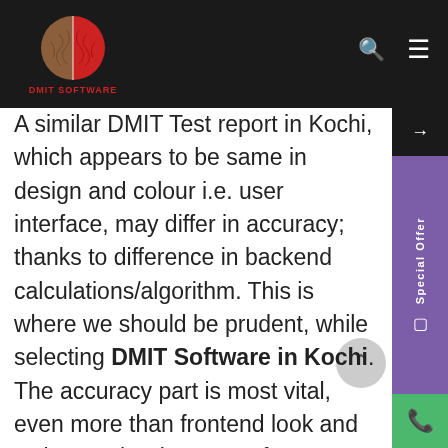DMIT SOFTWARE [logo/navbar]
A similar DMIT Test report in Kochi, which appears to be same in design and colour i.e. user interface, may differ in accuracy; thanks to difference in backend calculations/algorithm. This is where we should be prudent, while selecting DMIT Software in Kochi. The accuracy part is most vital, even more than frontend look and style. Another important fact associated with DMIT Software in Kochi is that analysis of fingerprints captured using DMIT Software in Kochi requires human intervention. Hence, proper training of DMIT in Kochi is important.
Just in case the analysis of pattern is not